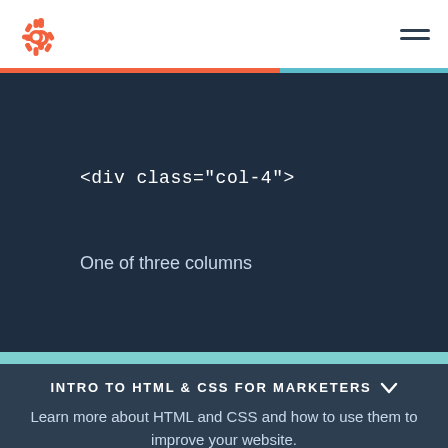HubSpot logo and navigation
[Figure (screenshot): Dark navy code editor block showing HTML code: <div class="col-4"> and text 'One of three columns']
INTRO TO HTML & CSS FOR MARKETERS
Learn more about HTML and CSS and how to use them to improve your website.
DOWNLOAD THE FREE GUIDE